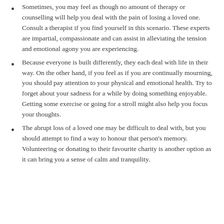Sometimes, you may feel as though no amount of therapy or counselling will help you deal with the pain of losing a loved one. Consult a therapist if you find yourself in this scenario. These experts are impartial, compassionate and can assist in alleviating the tension and emotional agony you are experiencing.
Because everyone is built differently, they each deal with life in their way. On the other hand, if you feel as if you are continually mourning, you should pay attention to your physical and emotional health. Try to forget about your sadness for a while by doing something enjoyable. Getting some exercise or going for a stroll might also help you focus your thoughts.
The abrupt loss of a loved one may be difficult to deal with, but you should attempt to find a way to honour that person's memory. Volunteering or donating to their favourite charity is another option as it can bring you a sense of calm and tranquility.